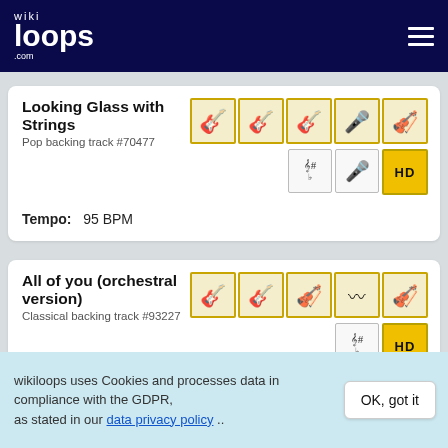wikiloops.com
Looking Glass with Strings
Pop backing track #70477
[Figure (illustration): Five instrument icons (guitar, bass guitar, guitar, microphone, violin) in gold-bordered boxes, plus music key, microphone, and HD badges]
Tempo: 95 BPM
All of you (orchestral version)
Classical backing track #93227
[Figure (illustration): Five instrument icons (guitar, bass guitar, cello, strings/harp, violin) in gold-bordered boxes, plus music key and HD badges]
wikiloops uses Cookies and processes data in compliance with the GDPR, as stated in our data privacy policy ..